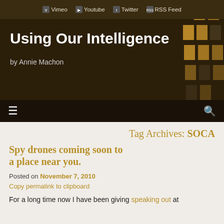Vimeo  Youtube  Twitter  RSS Feed
Using Our Intelligence
by Annie Machon
Tag Archives: SOCA
Spy drones coming soon to a place near you.
Posted on November 7, 2010
Copy permalink to clipboard
For a long time now I have been giving speaking out at